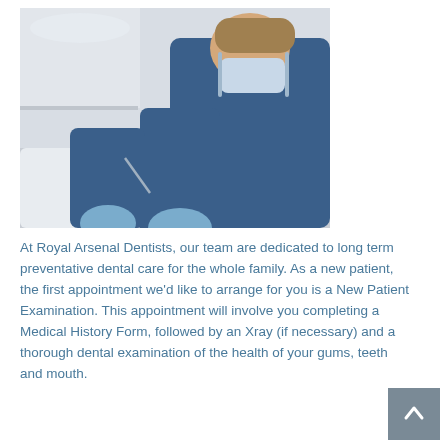[Figure (photo): A dentist in blue scrubs and surgical mask wearing blue latex gloves performing a dental examination on a patient lying in a dental chair.]
At Royal Arsenal Dentists, our team are dedicated to long term preventative dental care for the whole family. As a new patient, the first appointment we'd like to arrange for you is a New Patient Examination. This appointment will involve you completing a Medical History Form, followed by an Xray (if necessary) and a thorough dental examination of the health of your gums, teeth and mouth.